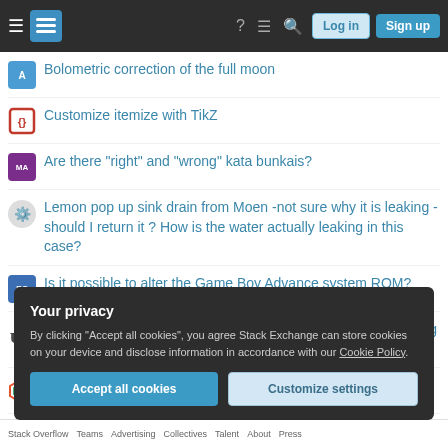Stack Exchange navigation bar with Log in and Sign up buttons
Bolometric correction of the full moon
Customize itemize with TikZ
Are there "right" and "wrong" kata bunkais?
Lemon pop up sink drain from Moen -not sure why it is leaking -should I return it ? How is the water actually leaking in this case?
Is it possible to alter the Game Boy Advance system ROM?
Do C compilers discard unused functions when statically linking to .a file?
A 1-D labyrinth
Question feed
Your privacy
By clicking "Accept all cookies", you agree Stack Exchange can store cookies on your device and disclose information in accordance with our Cookie Policy.
Accept all cookies   Customize settings
Stack Overflow   Teams   Advertising   Collectives   Talent   About   Press